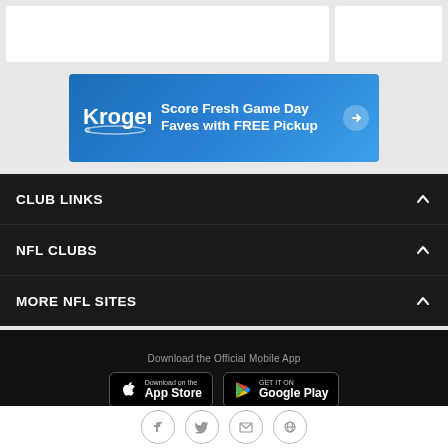[Figure (other): Two white card placeholders on grey background at top]
[Figure (other): Kroger advertisement banner: Score Fresh Game Day Faves with FREE Pickup]
CLUB LINKS
NFL CLUBS
MORE NFL SITES
Download the Official Mobile App
[Figure (other): Download on the App Store button]
[Figure (other): Get it on Google Play button]
[Figure (logo): Detroit Lions logo in white on blue background]
[Figure (other): Social media icons: Facebook, Twitter, Email, Link]